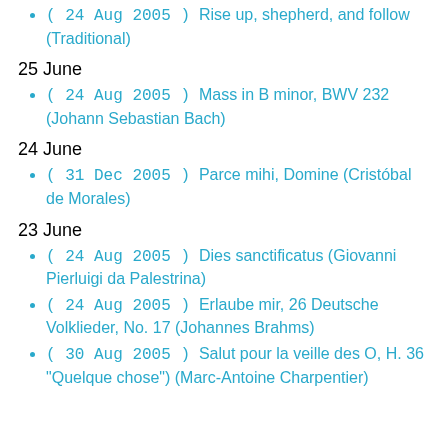(24 Aug 2005) Rise up, shepherd, and follow (Traditional)
25 June
(24 Aug 2005) Mass in B minor, BWV 232 (Johann Sebastian Bach)
24 June
(31 Dec 2005) Parce mihi, Domine (Cristóbal de Morales)
23 June
(24 Aug 2005) Dies sanctificatus (Giovanni Pierluigi da Palestrina)
(24 Aug 2005) Erlaube mir, 26 Deutsche Volklieder, No. 17 (Johannes Brahms)
(30 Aug 2005) Salut pour la veille des O, H. 36
(Quelque chose) (Marc-Antoine Charpentier)